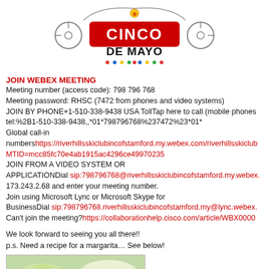[Figure (illustration): Cinco de Mayo decorative banner/logo with colorful design, clocks, and bold red 'CINCO DE MAYO' text with decorative dots]
JOIN WEBEX MEETING
Meeting number (access code): 798 796 768
Meeting password: RHSC (7472 from phones and video systems)
JOIN BY PHONE+1-510-338-9438 USA TollTap here to call (mobile phones tel:%2B1-510-338-9438,,*01*798796768%237472%23*01*
Global call-in numbers https://riverhillsskiclubincofstamford.my.webex.com/riverhillsskiclub MTID=mcc85fc70e4ab1915ac4296ce49970235
JOIN FROM A VIDEO SYSTEM OR APPLICATIONDial sip:798796768@riverhillsskiclubincofstamford.my.webex. 173.243.2.68 and enter your meeting number.
Join using Microsoft Lync or Microsoft Skype for BusinessDial sip:798796768.riverhillsskiclubincofstamford.my@lync.webex.
Can't join the meeting? https://collaborationhelp.cisco.com/article/WBX0000
We look forward to seeing you all there!!
p.s. Need a recipe for a margarita… See below!
[Figure (photo): Photo of margarita drinks with lime]